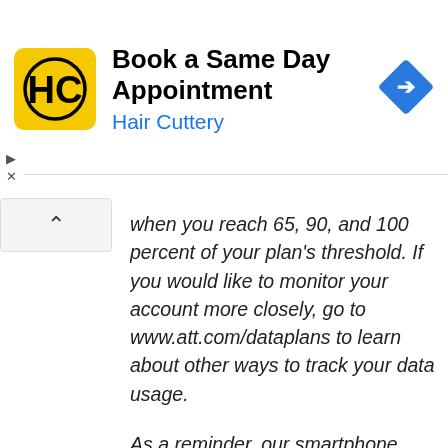[Figure (advertisement): Hair Cuttery advertisement banner with logo and text 'Book a Same Day Appointment' and blue navigation icon]
when you reach 65, 90, and 100 percent of your plan's threshold. If you would like to monitor your account more closely, go to www.att.com/dataplans to learn about other ways to track your data usage.
As a reminder, our smartphone data plans also include unlimited usage of Wi-Fi at no additional charge. AT&T smartphone customers can use Wi-Fi at home or on-the-go at any one of our more than 23,000 U.S. hotspots already included in your data plan.
Thank you for bringing your account up to date. We appreciate the opportunity to